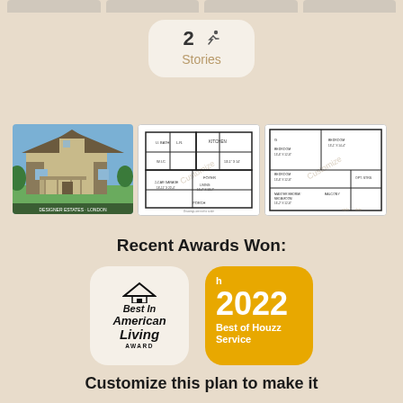[Figure (infographic): Stories badge showing '2' with staircase icon and label 'Stories' on a cream rounded rectangle]
[Figure (photo): Three images side by side: a craftsman-style house exterior photo, first floor plan, and second floor plan with 'Customize' watermark]
Recent Awards Won:
[Figure (infographic): Best In American Living Award badge on cream rounded square]
[Figure (infographic): 2022 Best of Houzz Service badge on gold/yellow rounded square]
Customize this plan to make it